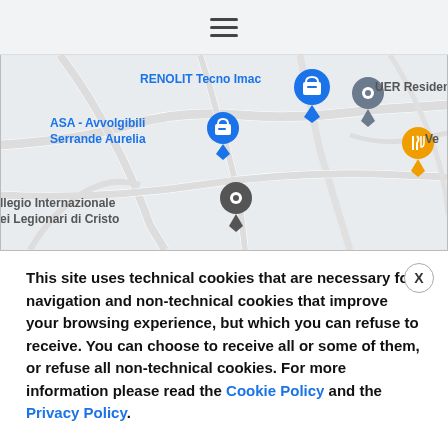[Figure (screenshot): Google Maps screenshot showing Rome area with pins for RENOLIT Tecno Imac, ASA - Avvolgibili Serrande Aurelia, UER Residenza, and a food/restaurant pin, with road map background]
This site uses technical cookies that are necessary for navigation and non-technical cookies that improve your browsing experience, but which you can refuse to receive. You can choose to receive all or some of them, or refuse all non-technical cookies. For more information please read the Cookie Policy and the Privacy Policy.
Select cookies
Reject all
Accept all